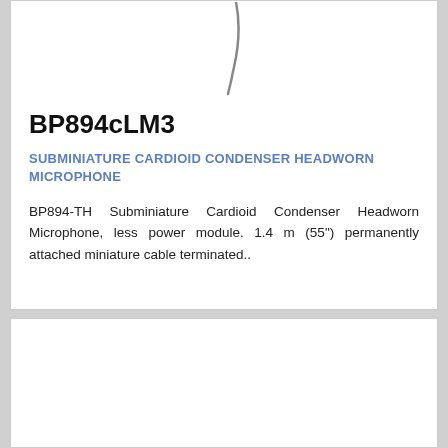[Figure (photo): Partial view of a headworn microphone cable/arm curving down against white background]
BP894cLM3
SUBMINIATURE CARDIOID CONDENSER HEADWORN MICROPHONE
BP894-TH Subminiature Cardioid Condenser Headworn Microphone, less power module. 1.4 m (55") permanently attached miniature cable terminated..